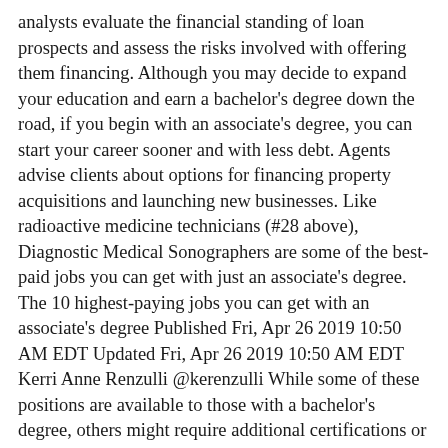analysts evaluate the financial standing of loan prospects and assess the risks involved with offering them financing. Although you may decide to expand your education and earn a bachelor's degree down the road, if you begin with an associate's degree, you can start your career sooner and with less debt. Agents advise clients about options for financing property acquisitions and launching new businesses. Like radioactive medicine technicians (#28 above), Diagnostic Medical Sonographers are some of the best-paid jobs you can get with just an associate's degree. The 10 highest-paying jobs you can get with an associate's degree Published Fri, Apr 26 2019 10:50 AM EDT Updated Fri, Apr 26 2019 10:50 AM EDT Kerri Anne Renzulli @kerenzulli While some of these positions are available to those with a bachelor's degree, others might require additional certifications or education. And if you're serious about a finance career, you may also want to consider an MBA or master's degree in finance. Investment Banker. Finance majors learn to construct, interpret, and critique financial statements while completing the accounting component of their studies. A degree in economics can help you get started in many areas, including public policy and finance. "Financial Analysts." Finance majors develop analytical skills in order to dissect financial statements and appraise the financial standing of companies, municipalities, and other entities. As a bank branch manager, you will oversee key tasks of the bank in which you work. Financial analysts also produce reports detailing their